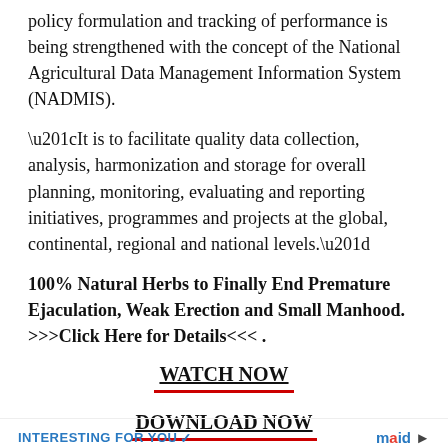policy formulation and tracking of performance is being strengthened with the concept of the National Agricultural Data Management Information System (NADMIS).
“It is to facilitate quality data collection, analysis, harmonization and storage for overall planning, monitoring, evaluating and reporting initiatives, programmes and projects at the global, continental, regional and national levels.”
100% Natural Herbs to Finally End Premature Ejaculation, Weak Erection and Small Manhood. >>>Click Here for Details<<< .
WATCH NOW
DOWNLOAD NOW
INTERESTING FOR YOU  maid